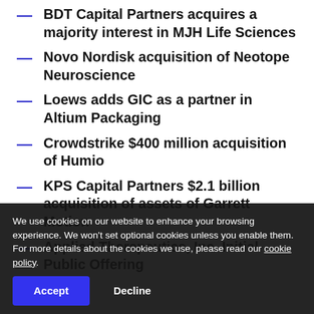BDT Capital Partners acquires a majority interest in MJH Life Sciences
Novo Nordisk acquisition of Neotope Neuroscience
Loews adds GIC as a partner in Altium Packaging
Crowdstrike $400 million acquisition of Humio
KPS Capital Partners $2.1 billion acquisition of assets of Garrett Motion
Applied Therapeutics, Inc. Initial Public Offering
Advantage Sales & Marketing / Conyers Park Acquisition on $900 million Notes Reopening
We use cookies on our website to enhance your browsing experience. We won't set optional cookies unless you enable them. For more details about the cookies we use, please read our cookie policy.